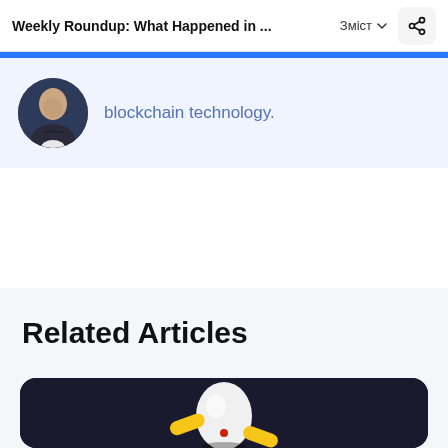Weekly Roundup: What Happened in ...
[Figure (photo): Author avatar photo - person in dark hoodie]
blockchain technology.
Related Articles
[Figure (illustration): 3D white egg-shaped character with yellow highlights on dark background]